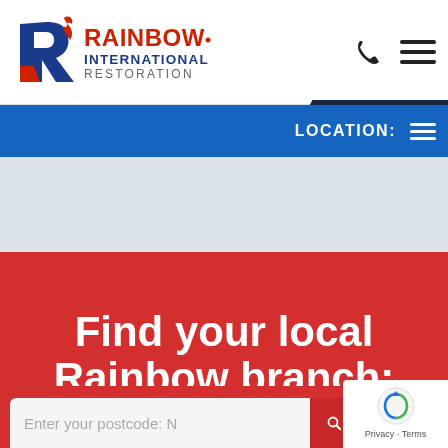[Figure (logo): Rainbow International Restoration logo with stylized R and flame]
LOCATION:
Find your local Rainbow branch:
Enter your postcode: N
SEARCH
[Figure (other): reCAPTCHA badge with logo and Privacy - Terms text]